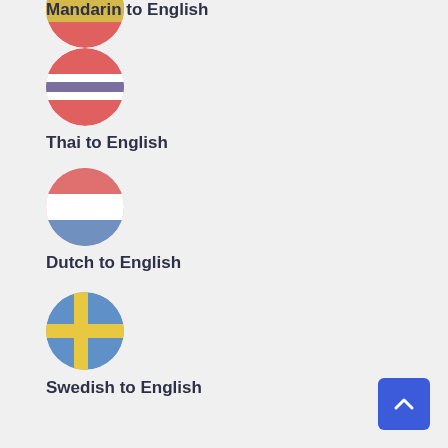[Figure (illustration): Mandarin flag circle (partially visible at top)]
Mandarin to English
[Figure (illustration): Thai flag circle with red, purple/blue, red horizontal stripes]
Thai to English
[Figure (illustration): Dutch flag circle with red, white, blue horizontal stripes]
Dutch to English
[Figure (illustration): Swedish flag circle with blue background and yellow Nordic cross]
Swedish to English
[Figure (illustration): French flag circle with blue, white, red vertical stripes]
French to English
[Figure (illustration): Italian flag circle with green, white, red vertical stripes]
Italian to English
[Figure (illustration): Partially visible flag circle at bottom (green/red)]